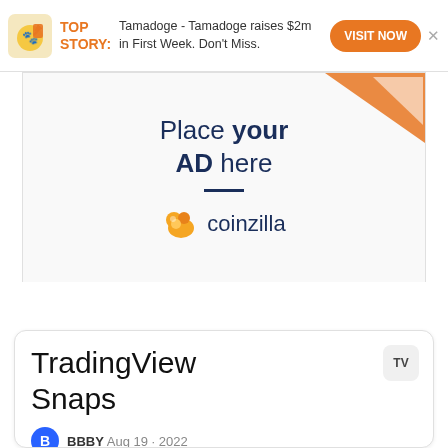[Figure (infographic): Top story banner with orange icon, 'TOP STORY:' label, text about Tamadoge raising $2m, and orange VISIT NOW button with X close]
[Figure (infographic): Coinzilla ad placeholder: orange triangle top-right, 'Place your AD here' text with underline, coinzilla logo and name]
TradingView Snaps
BBBY Aug 19 · 2022